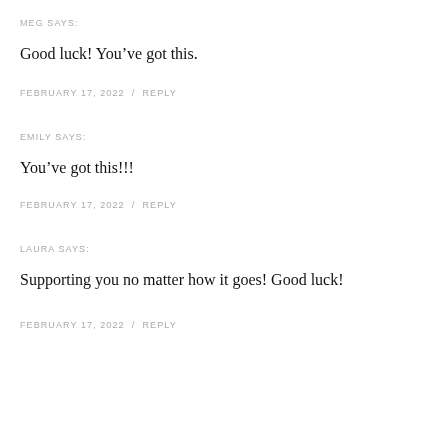MEG SAYS:
Good luck! You've got this.
FEBRUARY 17, 2022 / REPLY
EMILY SAYS:
You've got this!!!
FEBRUARY 17, 2022 / REPLY
LAURA SAYS:
Supporting you no matter how it goes! Good luck!
FEBRUARY 17, 2022 / REPLY